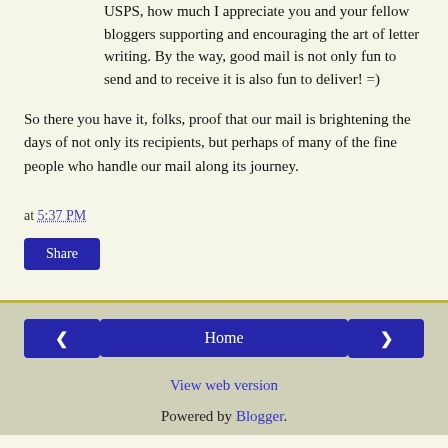USPS, how much I appreciate you and your fellow bloggers supporting and encouraging the art of letter writing. By the way, good mail is not only fun to send and to receive it is also fun to deliver! =)
So there you have it, folks, proof that our mail is brightening the days of not only its recipients, but perhaps of many of the fine people who handle our mail along its journey.
at 5:37 PM
Share
◁  Home  ▷  View web version  Powered by Blogger.